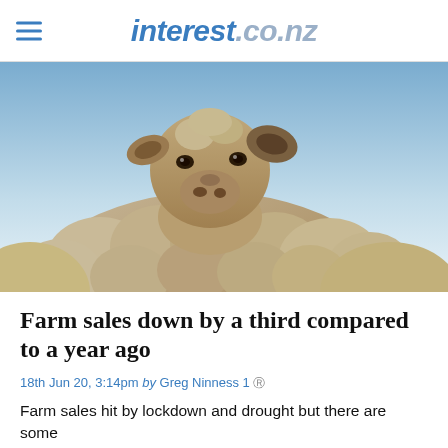interest.co.nz
[Figure (photo): Close-up photo of a sheep looking directly at the camera, with a light blue sky background. The sheep has woolly cream/brown fleece and is tilting its head slightly.]
Farm sales down by a third compared to a year ago
18th Jun 20, 3:14pm by Greg Ninness 1
Farm sales hit by lockdown and drought but there are some